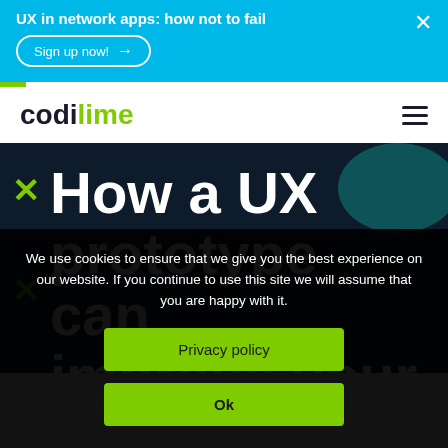UX in network apps: how not to fail
Sign up now! →
[Figure (logo): CodiLime logo with hamburger menu icon]
How a UX prototype can improve your
We use cookies to ensure that we give you the best experience on our website. If you continue to use this site we will assume that you are happy with it.
Privacy policy
Ok